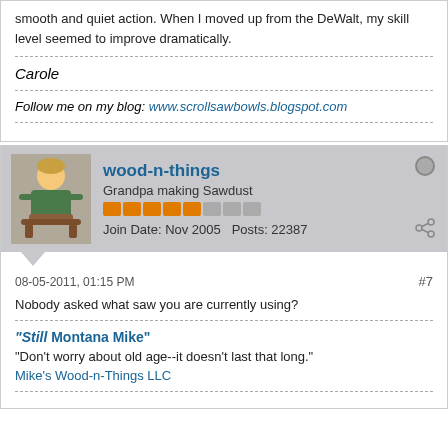smooth and quiet action. When I moved up from the DeWalt, my skill level seemed to improve dramatically.
Carole
Follow me on my blog: www.scrollsawbowls.blogspot.com
wood-n-things
Grandpa making Sawdust
Join Date: Nov 2005  Posts: 22387
08-05-2011, 01:15 PM  #7
Nobody asked what saw you are currently using?
"Still Montana Mike"
"Don't worry about old age--it doesn't last that long."
Mike's Wood-n-Things LLC